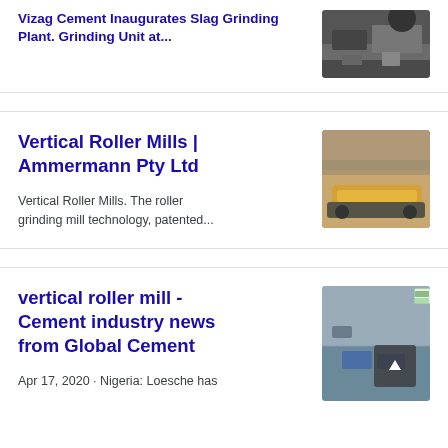Vizag Cement Inaugurates Slag Grinding Plant. Grinding Unit at...
[Figure (photo): Aerial or close-up photo of a slag grinding or quarry site, dark rocky material]
Vertical Roller Mills | Ammermann Pty Ltd
Vertical Roller Mills. The roller grinding mill technology, patented...
[Figure (photo): Photo of a large mobile crusher or conveyor machine at a quarry site]
vertical roller mill - Cement industry news from Global Cement
Apr 17, 2020 · Nigeria: Loesche has
[Figure (photo): Aerial view of cement plant equipment and machinery on dusty ground]